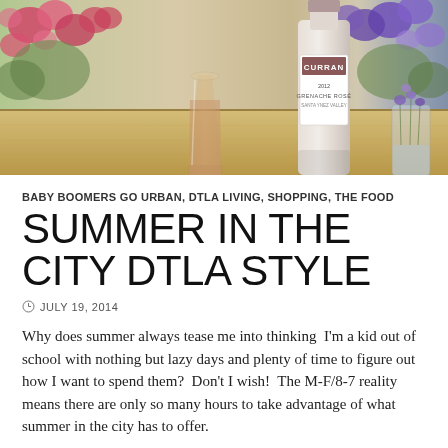[Figure (photo): Photo of a wooden table with a glass of rosé wine, a bottle of Curran 2012 Grenache Rosé, a small jar with purple flowers, and colorful flowers (pink and purple) in the background.]
BABY BOOMERS GO URBAN, DTLA LIVING, SHOPPING, THE FOOD
SUMMER IN THE CITY DTLA STYLE
JULY 19, 2014
Why does summer always tease me into thinking  I'm a kid out of school with nothing but lazy days and plenty of time to figure out how I want to spend them?  Don't I wish!  The M-F/8-7 reality means there are only so many hours to take advantage of what summer in the city has to offer.